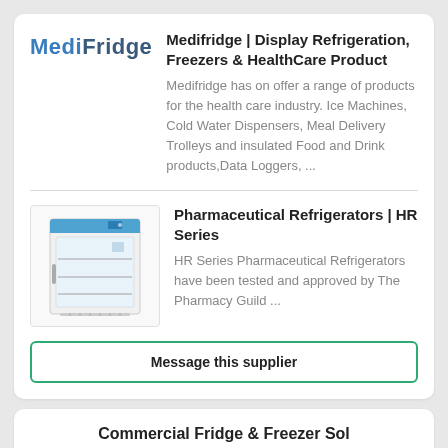[Figure (logo): MediFridge logo in blue text]
Medifridge | Display Refrigeration, Freezers & HealthCare Product
Medifridge has on offer a range of products for the health care industry. Ice Machines, Cold Water Dispensers, Meal Delivery Trolleys and insulated Food and Drink products,Data Loggers, ...
[Figure (photo): Photo of a pharmaceutical refrigerator with glass door, white body and blue top panel, showing internal shelves]
Pharmaceutical Refrigerators | HR Series
HR Series Pharmaceutical Refrigerators have been tested and approved by The Pharmacy Guild ...
Message this supplier
Commercial Fridge & Freezer Solutions